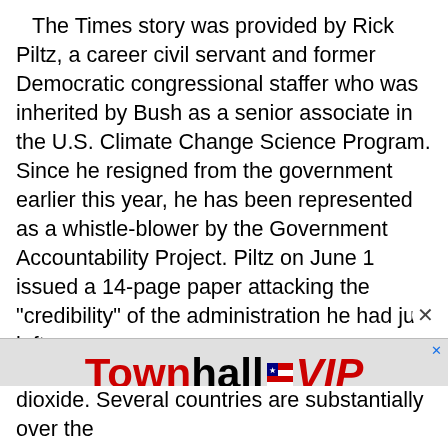The Times story was provided by Rick Piltz, a career civil servant and former Democratic congressional staffer who was inherited by Bush as a senior associate in the U.S. Climate Change Science Program. Since he resigned from the government earlier this year, he has been represented as a whistle-blower by the Government Accountability Project. Piltz on June 1 issued a 14-page paper attacking the "credibility" of the administration he had just left.
The reason for all this activity is the EU's plight in regard to Kyoto's emissions reduction targets of five percent below the 1990 level. According to credible
[Figure (logo): Townhall VIP advertisement banner with red and black text on gray background]
dioxide. Several countries are substantially over the